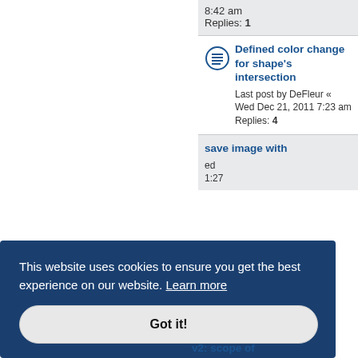8:42 am
Replies: 1
Defined color change for shape's intersection
Last post by DeFleur « Wed Dec 21, 2011 7:23 am
Replies: 4
save image with
This website uses cookies to ensure you get the best experience on our website. Learn more
Got it!